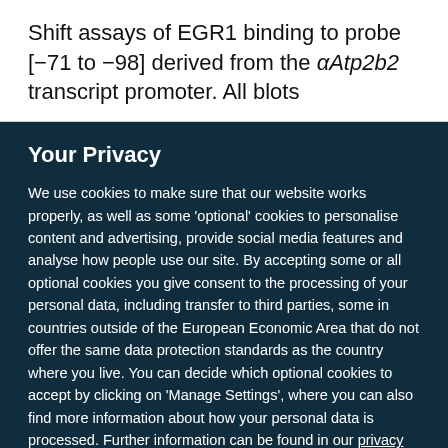Shift assays of EGR1 binding to probe [−71 to −98] derived from the αAtp2b2 transcript promoter. All blots
Your Privacy
We use cookies to make sure that our website works properly, as well as some 'optional' cookies to personalise content and advertising, provide social media features and analyse how people use our site. By accepting some or all optional cookies you give consent to the processing of your personal data, including transfer to third parties, some in countries outside of the European Economic Area that do not offer the same data protection standards as the country where you live. You can decide which optional cookies to accept by clicking on 'Manage Settings', where you can also find more information about how your personal data is processed. Further information can be found in our privacy policy.
Accept all cookies
Manage preferences